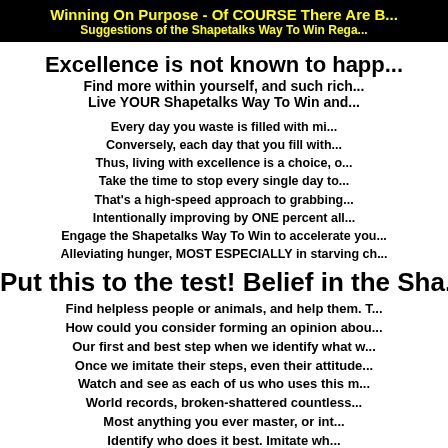Winning On Purpose - Of COURSE There Are B... Suggestions of the Shapetalks Way To Win Rega...
Excellence is not known to happ...
Find more within yourself, and such rich...
Live YOUR Shapetalks Way To Win and...
Every day you waste is filled with mi...
Conversely, each day that you fill with...
Thus, living with excellence is a choice, o...
Take the time to stop every single day to...
That's a high-speed approach to grabbing...
Intentionally improving by ONE percent all...
Engage the Shapetalks Way To Win to accelerate you...
Alleviating hunger, MOST ESPECIALLY in starving ch...
Put this to the test! Belief in the Sha...
Find helpless people or animals, and help them. T...
How could you consider forming an opinion abou...
Our first and best step when we identify what w...
Once we imitate their steps, even their attitude...
Watch and see as each of us who uses this m...
World records, broken-shattered countless...
Most anything you ever master, or int...
Identify who does it best. Imitate wh...
You get to choose who you imitat...